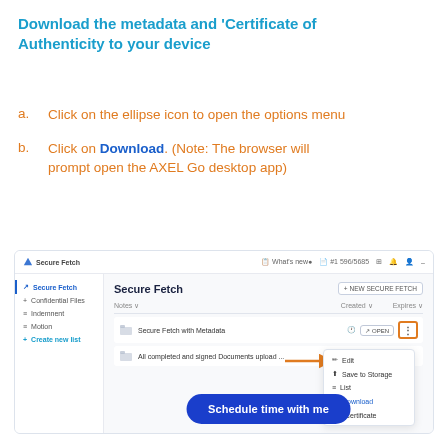Download the metadata and 'Certificate of Authenticity to your device
a. Click on the ellipse icon to open the options menu
b. Click on Download. (Note: The browser will prompt open the AXEL Go desktop app)
[Figure (screenshot): Screenshot of the AXEL Go Secure Fetch web interface showing a file list with a dropdown menu open containing options: Edit, Save to Storage, List, Download, Certificate. An orange arrow points to the Download option. A blue 'Schedule time with me' button appears at the bottom.]